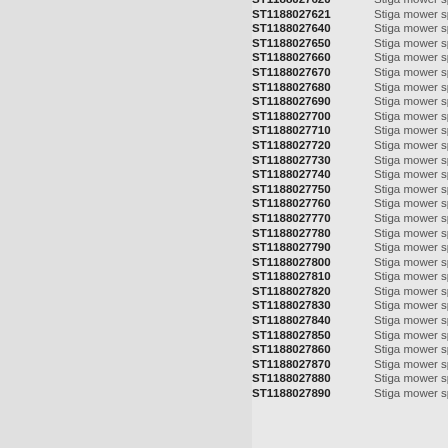ST1188027620  Stiga mower spares
ST1188027621  Stiga mower spares
ST1188027640  Stiga mower spares
ST1188027650  Stiga mower spares
ST1188027660  Stiga mower spares
ST1188027670  Stiga mower spares
ST1188027680  Stiga mower spares
ST1188027690  Stiga mower spares
ST1188027700  Stiga mower spares
ST1188027710  Stiga mower spares
ST1188027720  Stiga mower spares
ST1188027730  Stiga mower spares
ST1188027740  Stiga mower spares
ST1188027750  Stiga mower spares
ST1188027760  Stiga mower spares
ST1188027770  Stiga mower spares
ST1188027780  Stiga mower spares
ST1188027790  Stiga mower spares
ST1188027800  Stiga mower spares
ST1188027810  Stiga mower spares
ST1188027820  Stiga mower spares
ST1188027830  Stiga mower spares
ST1188027840  Stiga mower spares
ST1188027850  Stiga mower spares
ST1188027860  Stiga mower spares
ST1188027870  Stiga mower spares
ST1188027880  Stiga mower spares
ST1188027890  Stiga mower spares